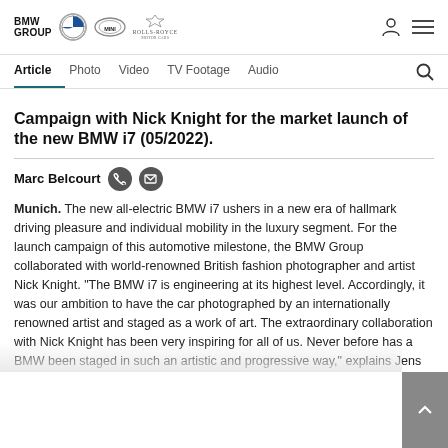BMW GROUP | BMW | MINI | ROLLS-ROYCE
Article  Photo  Video  TV Footage  Audio
Campaign with Nick Knight for the market launch of the new BMW i7 (05/2022).
Marc Belcourt
Munich. The new all-electric BMW i7 ushers in a new era of hallmark driving pleasure and individual mobility in the luxury segment. For the launch campaign of this automotive milestone, the BMW Group collaborated with world-renowned British fashion photographer and artist Nick Knight. "The BMW i7 is engineering at its highest level. Accordingly, it was our ambition to have the car photographed by an internationally renowned artist and staged as a work of art. The extraordinary collaboration with Nick Knight has been very inspiring for all of us. Never before has a BMW been staged in such an artistic and progressive way," explains Jens